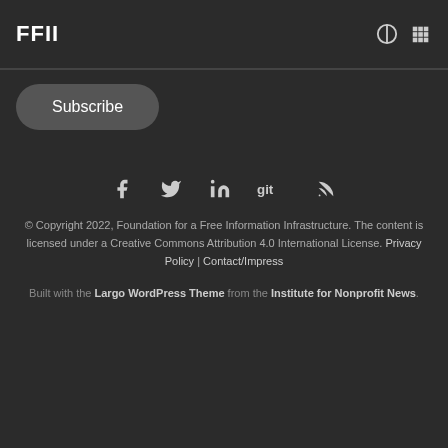FFII
Subscribe
[Figure (infographic): Social media icons row: Facebook, Twitter, LinkedIn, Git, RSS]
© Copyright 2022, Foundation for a Free Information Infrastructure. The content is licensed under a Creative Commons Attribution 4.0 International License. Privacy Policy | Contact/Impress
Built with the Largo WordPress Theme from the Institute for Nonprofit News.